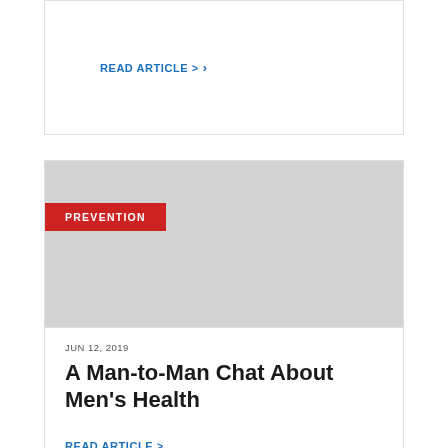READ ARTICLE
[Figure (photo): Gray placeholder image for article with PREVENTION category badge in red]
JUN 12, 2019
A Man-to-Man Chat About Men's Health
READ ARTICLE